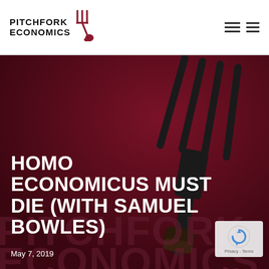[Figure (logo): Pitchfork Economics logo with pitchfork illustration in dark red/maroon and bold black uppercase text]
[Figure (illustration): Website screenshot header with hamburger menu icons on top right]
HOMO ECONOMICUS MUST DIE (WITH SAMUEL BOWLES)
May 7, 2019